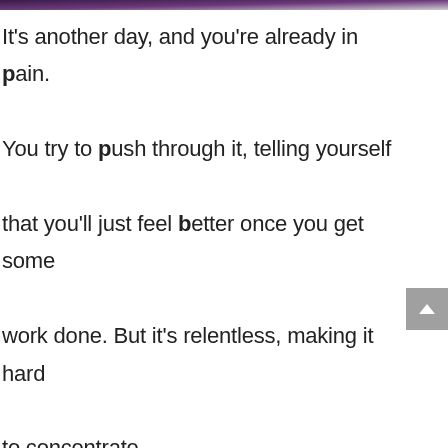It's another day, and you're already in pain. You try to push through it, telling yourself that you'll just feel better once you get some work done. But it's relentless, making it hard to concentrate. Every movement feels like a struggle, and you're feeling defeated. You know that if you can just make it through this workday, you can rest later. But right now, it feels impossible.